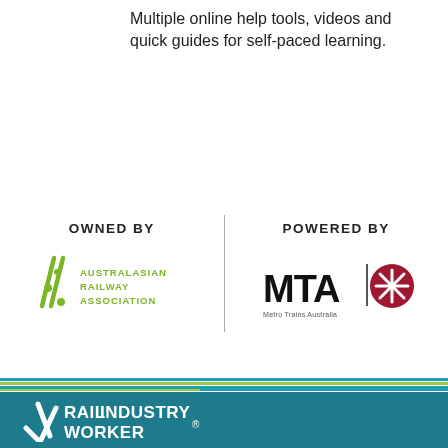Multiple online help tools, videos and quick guides for self-paced learning.
[Figure (logo): OWNED BY / Australasian Railway Association logo and POWERED BY / MTA Metro Trains Australia logo side by side with vertical divider]
[Figure (logo): Rail Industry Worker logo on teal footer bar]